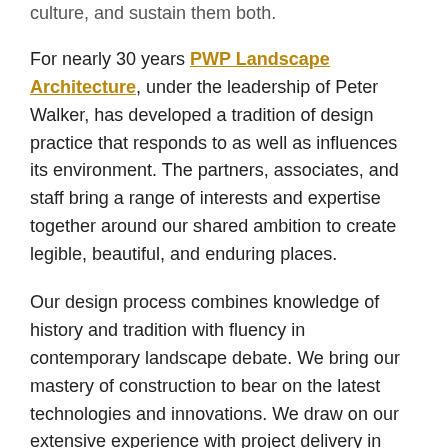culture, and sustain them both.
For nearly 30 years PWP Landscape Architecture, under the leadership of Peter Walker, has developed a tradition of design practice that responds to as well as influences its environment. The partners, associates, and staff bring a range of interests and expertise together around our shared ambition to create legible, beautiful, and enduring places.
Our design process combines knowledge of history and tradition with fluency in contemporary landscape debate. We bring our mastery of construction to bear on the latest technologies and innovations. We draw on our extensive experience with project delivery in some of the world's most politically and physically complex environments to address the challenges of each project. Through constant interchange with